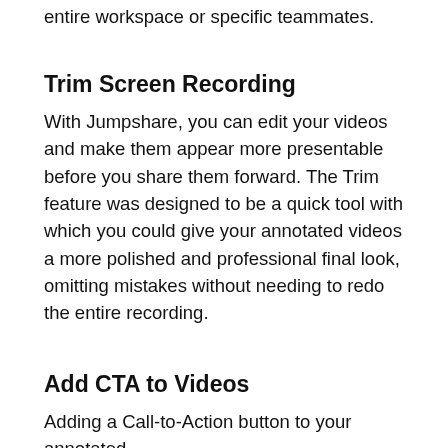entire workspace or specific teammates.
Trim Screen Recording
With Jumpshare, you can edit your videos and make them appear more presentable before you share them forward. The Trim feature was designed to be a quick tool with which you could give your annotated videos a more polished and professional final look, omitting mistakes without needing to redo the entire recording.
Add CTA to Videos
Adding a Call-to-Action button to your annotated